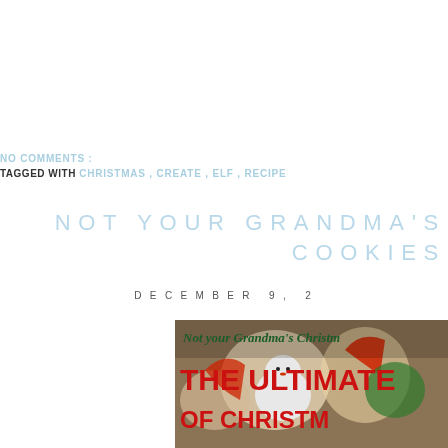NO COMMENTS :
TAGGED WITH CHRISTMAS , CREATE , ELF , RECIPE
NOT YOUR GRANDMA'S COOKIES
DECEMBER 9 , 2
[Figure (photo): Photo showing Christmas cookies including a snowman cookie and other holiday-shaped cookies, with text overlay reading 'Not your Grandma's Christmas' in dark green italic, and 'THE ULTIMATE OF CHRISTM' in bold red text]